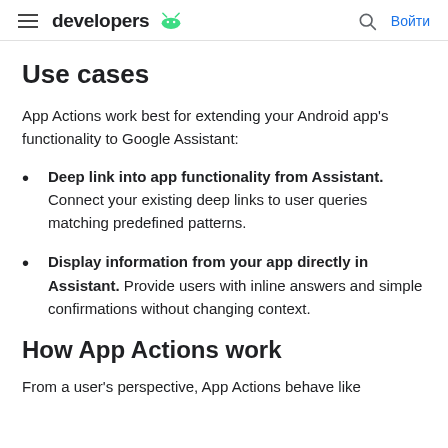developers | Войти
Use cases
App Actions work best for extending your Android app's functionality to Google Assistant:
Deep link into app functionality from Assistant. Connect your existing deep links to user queries matching predefined patterns.
Display information from your app directly in Assistant. Provide users with inline answers and simple confirmations without changing context.
How App Actions work
From a user's perspective, App Actions behave like